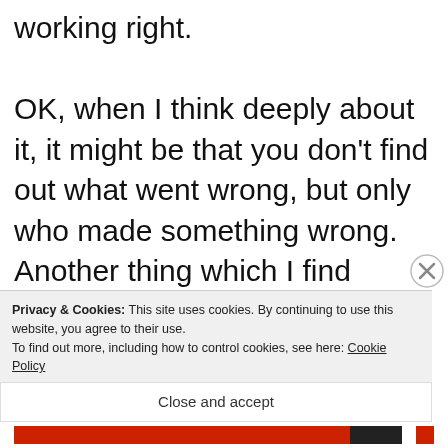working right. OK, when I think deeply about it, it might be that you don't find out what went wrong, but only who made something wrong. Another thing which I find helpfull with task management is, that you can give a status report quickly by looking into your tool. I imagine that with scrum projects the status of the project is only in the mind of the team members.
Privacy & Cookies: This site uses cookies. By continuing to use this website, you agree to their use. To find out more, including how to control cookies, see here: Cookie Policy
Close and accept